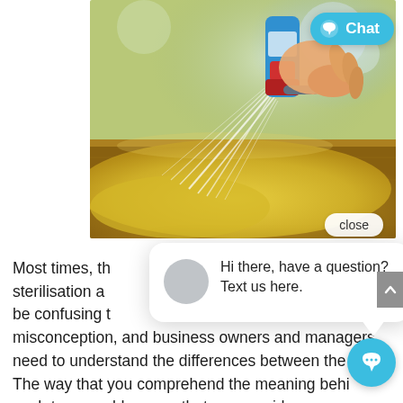[Figure (photo): A hand holding a blue and red spray bottle, spraying liquid onto a yellow cleaning cloth on a wooden surface, with green plants blurred in the background.]
close
[Figure (screenshot): Chat popup widget showing a gray avatar circle and text: 'Hi there, have a question? Text us here.']
Chat
Most times, th sterilisation a be confusing t misconception, and business owners and managers need to understand the differences between the The way that you comprehend the meaning behi each term could ensure that you provide your